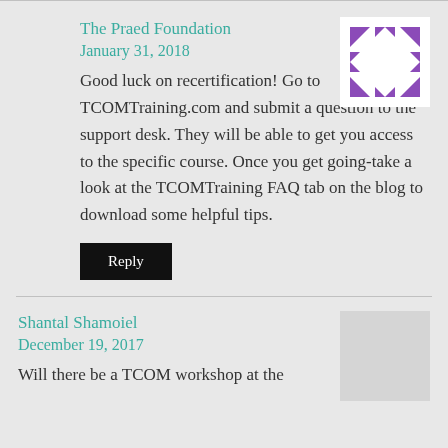The Praed Foundation
January 31, 2018
[Figure (logo): Purple geometric star/pinwheel logo on white background]
Good luck on recertification! Go to TCOMTraining.com and submit a question to the support desk. They will be able to get you access to the specific course. Once you get going-take a look at the TCOMTraining FAQ tab on the blog to download some helpful tips.
Reply
Shantal Shamoiel
December 19, 2017
Will there be a TCOM workshop at the